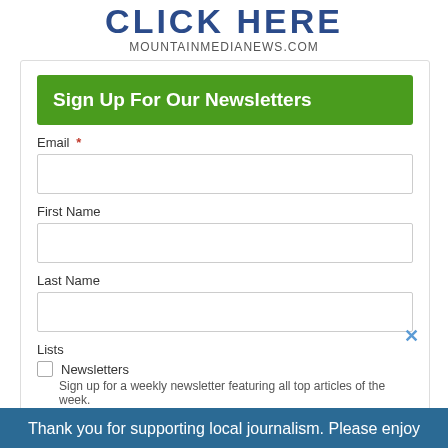CLICK HERE
MOUNTAINMEDIANEWS.COM
Sign Up For Our Newsletters
Email *
First Name
Last Name
Lists
Newsletters
Sign up for a weekly newsletter featuring all top articles of the week.
eEdition Notifications
Thank you for supporting local journalism. Please enjoy